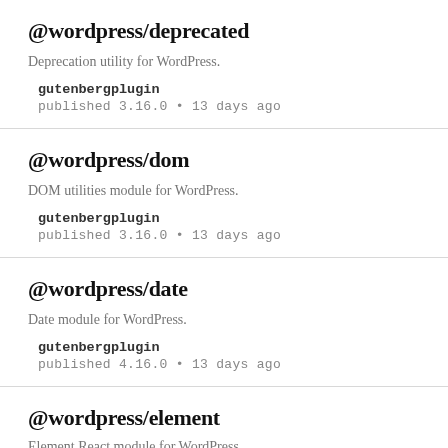@wordpress/deprecated
Deprecation utility for WordPress.
gutenbergplugin
published 3.16.0 • 13 days ago
@wordpress/dom
DOM utilities module for WordPress.
gutenbergplugin
published 3.16.0 • 13 days ago
@wordpress/date
Date module for WordPress.
gutenbergplugin
published 4.16.0 • 13 days ago
@wordpress/element
Element React module for WordPress.